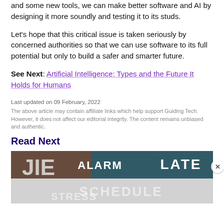and some new tools, we can make better software and AI by designing it more soundly and testing it to its studs.
Let's hope that this critical issue is taken seriously by concerned authorities so that we can use software to its full potential but only to build a safer and smarter future.
See Next: Artificial Intelligence: Types and the Future It Holds for Humans
Last updated on 09 February, 2022
The above article may contain affiliate links which help support Guiding Tech. However, it does not affect our editorial integrity. The content remains unbiased and authentic.
Read Next
[Figure (photo): A blurred promotional/article image showing overlaid text words: ALARM, LATE, SCHEDULE, STRESS on a dark and light background with a person and scattered items.]